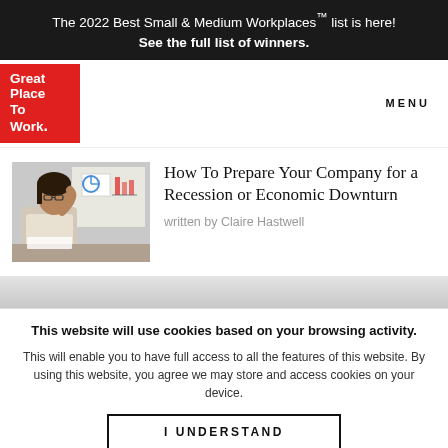The 2022 Best Small & Medium Workplaces™ list is here! See the full list of winners.
[Figure (logo): Great Place To Work logo — red square with white bold text reading Great Place To Work.]
MENU
[Figure (photo): Woman with glasses sitting at desk looking stressed, with charts visible in background on a whiteboard.]
How To Prepare Your Company for a Recession or Economic Downturn
written by Claire Hastwell
This website will use cookies based on your browsing activity.
This will enable you to have full access to all the features of this website. By using this website, you agree we may store and access cookies on your device.
I UNDERSTAND